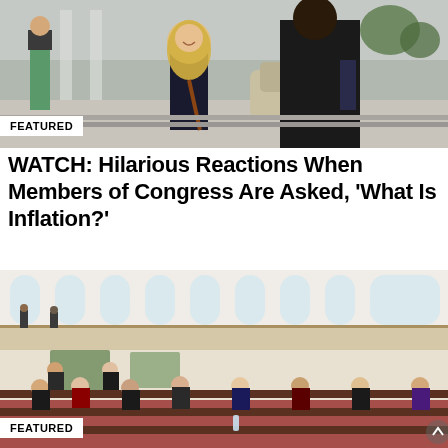[Figure (photo): People outside on a street near the Capitol, a smiling blonde woman in a dark dress is prominent, with others around her including men in suits]
FEATURED
WATCH: Hilarious Reactions When Members of Congress Are Asked, 'What Is Inflation?'
[Figure (photo): Interior of a large legislative chamber with rows of legislators seated at wooden desks, high arched ceiling with large windows, galleries visible above]
FEATURED